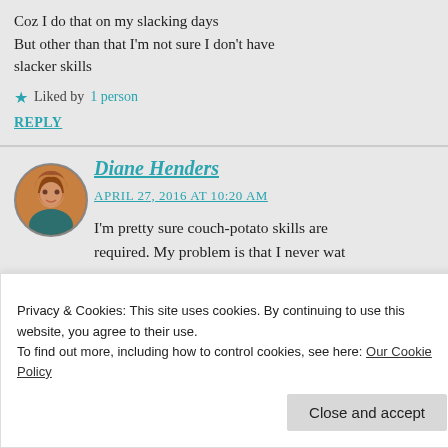Coz I do that on my slacking days But other than that I'm not sure I don't have slacker skills
Liked by 1 person
REPLY
Diane Henders
APRIL 27, 2016 AT 10:20 AM
I'm pretty sure couch-potato skills are required. My problem is that I never wat
Privacy & Cookies: This site uses cookies. By continuing to use this website, you agree to their use. To find out more, including how to control cookies, see here: Our Cookie Policy
Close and accept